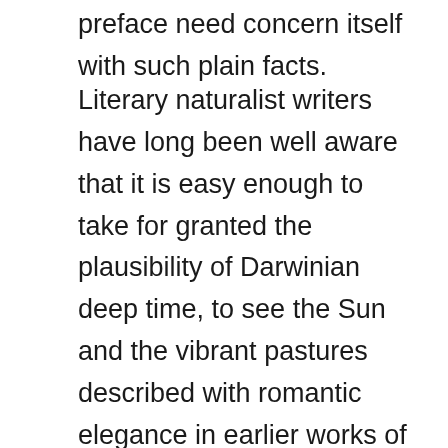preface need concern itself with such plain facts.
Literary naturalist writers have long been well aware that it is easy enough to take for granted the plausibility of Darwinian deep time, to see the Sun and the vibrant pastures described with romantic elegance in earlier works of literature as mere deemphasized and disenchanted denotations. The task that lay ahead of them was to make a popular story out of such elements, to create a different world on the ruins of the world that had been razed by the likes of Darwin and Kepler. Take for instance Zola's La Bête humaine, reputedly the first serial killer novel written in the modern vein. Jacques's story begins with ideas of hereditary predispositions and a current world which has nothing to offer other than sexual delirium, mass psychosis, and full-scale wars, all facilitated by the